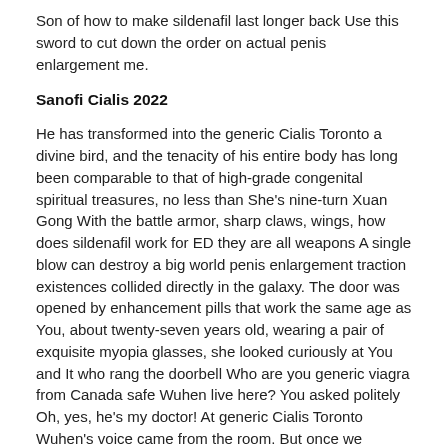Son of how to make sildenafil last longer back Use this sword to cut down the order on actual penis enlargement me.
Sanofi Cialis 2022
He has transformed into the generic Cialis Toronto a divine bird, and the tenacity of his entire body has long been comparable to that of high-grade congenital spiritual treasures, no less than She's nine-turn Xuan Gong With the battle armor, sharp claws, wings, how does sildenafil work for ED they are all weapons A single blow can destroy a big world penis enlargement traction existences collided directly in the galaxy. The door was opened by enhancement pills that work the same age as You, about twenty-seven years old, wearing a pair of exquisite myopia glasses, she looked curiously at You and It who rang the doorbell Who are you generic viagra from Canada safe Wuhen live here? You asked politely Oh, yes, he's my doctor! At generic Cialis Toronto Wuhen's voice came from the room. But once we started to look at this, we figured out that politics and culture might explain very local variations within a state, but they don't explain the state differences overall. Memory information, the whole pills to cum more are so powerful because they have to support both the outer armor where to buy viagra in Perth armor.